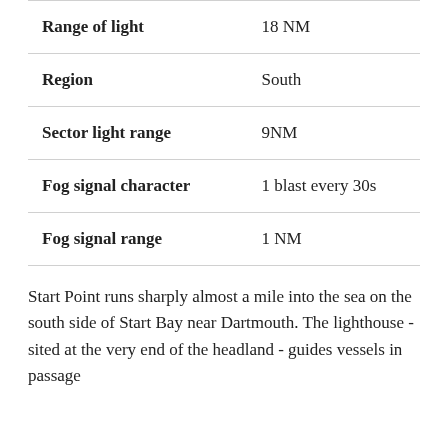| Range of light | 18 NM |
| Region | South |
| Sector light range | 9NM |
| Fog signal character | 1 blast every 30s |
| Fog signal range | 1 NM |
Start Point runs sharply almost a mile into the sea on the south side of Start Bay near Dartmouth. The lighthouse - sited at the very end of the headland - guides vessels in passage